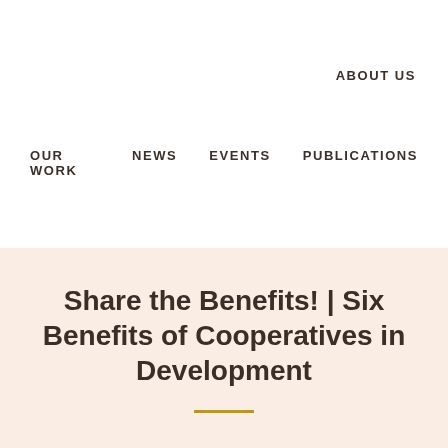ABOUT US
OUR WORK   NEWS   EVENTS   PUBLICATIONS
Share the Benefits! | Six Benefits of Cooperatives in Development